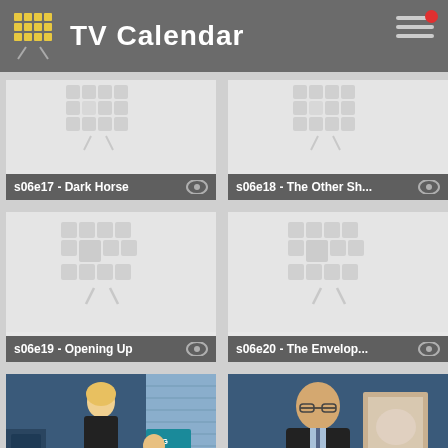TV Calendar
s06e17 - Dark Horse
s06e18 - The Other Sh...
s06e19 - Opening Up
s06e20 - The Envelop...
[Figure (photo): TV show thumbnail photo: two women in an office setting]
s06e21 - Silent Killer
[Figure (photo): TV show thumbnail photo: man in suit standing in a room]
s06e22 - Goodbye